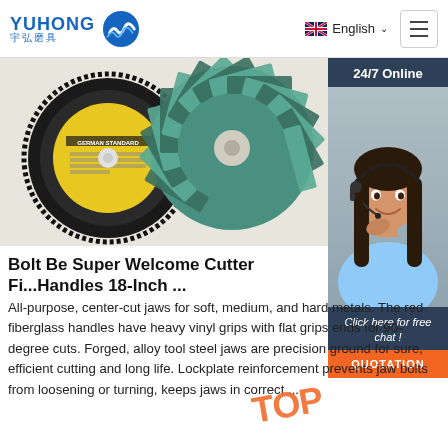YUHONG 宇弘磨具 | English
[Figure (photo): Two abrasive flap discs on a white background — one with a yellow label (German Standard), one teal/green flap disc]
[Figure (photo): Customer service agent woman with headset smiling, with '24/7 Online' banner and 'Click here for free chat!' and 'QUOTATION' button overlay]
Bolt Be Super Welcome Cutter Fi... Handles 18-Inch ...
All-purpose, center-cut jaws for soft, medium, and hard metals. The red fiberglass handles have heavy vinyl grips with flat grips ends for 90-degree cuts. Forged, alloy tool steel jaws are precision ground for sure, efficient cutting and long life. Lockplate reinforcement prevents jaw bolts from loosening or turning, keeps jaws in correct ...